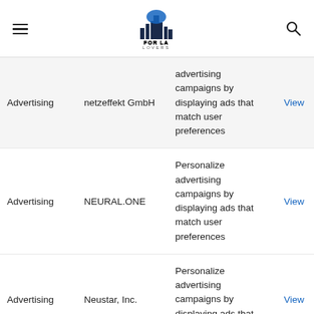FOR LA LOVERS
| Category | Company | Description |  |
| --- | --- | --- | --- |
| Advertising | netzeffekt GmbH | advertising campaigns by displaying ads that match user preferences | View |
| Advertising | NEURAL.ONE | Personalize advertising campaigns by displaying ads that match user preferences | View |
| Advertising | Neustar, Inc. | Personalize advertising campaigns by displaying ads that match user | View |